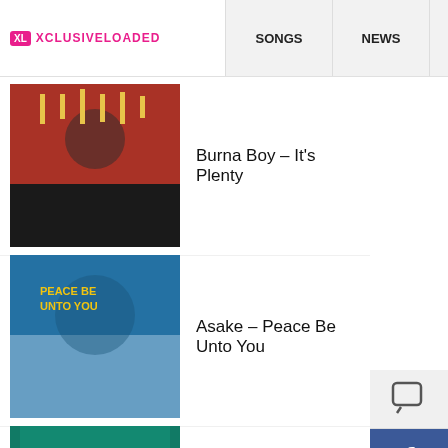XCLUSIVELOADED | SONGS | NEWS | MORE
Burna Boy – It's Plenty
Asake – Peace Be Unto You
Asake – Terminator
Fireboy DML – Bandana Ft. Asake
Joeboy – Contour